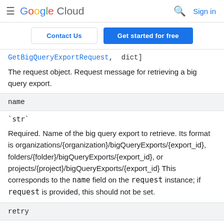Google Cloud | Contact Us | Get started for free | Sign in
GetBigQueryExportRequest,  dict]
The request object. Request message for retrieving a big query export.
name
`str`
Required. Name of the big query export to retrieve. Its format is organizations/{organization}/bigQueryExports/{export_id}, folders/{folder}/bigQueryExports/{export_id}, or projects/{project}/bigQueryExports/{export_id} This corresponds to the name field on the request instance; if request is provided, this should not be set.
retry